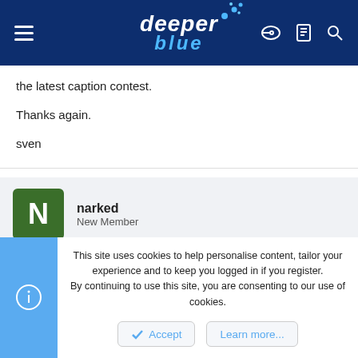deeper blue
the latest caption contest.

Thanks again.

sven
narked
New Member
Aug 19, 2002
#11
This site uses cookies to help personalise content, tailor your experience and to keep you logged in if you register.
By continuing to use this site, you are consenting to our use of cookies.